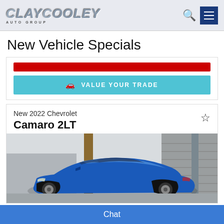Clay Cooley Auto Group
New Vehicle Specials
[Figure (screenshot): Red promotional bar and teal VALUE YOUR TRADE button]
New 2022 Chevrolet
Camaro 2LT
[Figure (photo): Blue 2022 Chevrolet Camaro 2LT photographed in a garage setting]
Chat